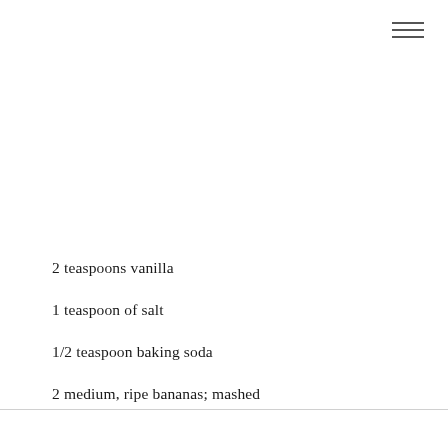[Figure (other): Hamburger menu icon (three horizontal lines) in top-right corner]
2 teaspoons vanilla
1 teaspoon of salt
1/2 teaspoon baking soda
2 medium, ripe bananas; mashed